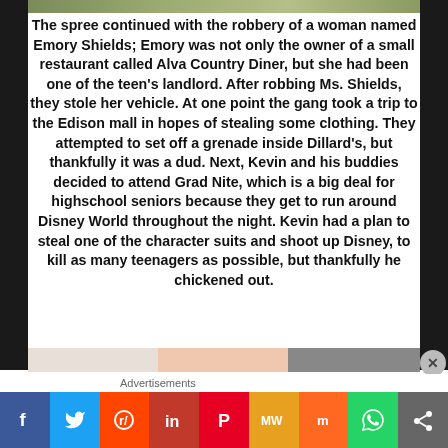[Figure (photo): Partial image visible at top of page, appears to be a nature or outdoor photo (green/yellow tones)]
The spree continued with the robbery of a woman named Emory Shields; Emory was not only the owner of a small restaurant called Alva Country Diner, but she had been one of the teen's landlord. After robbing Ms. Shields, they stole her vehicle. At one point the gang took a trip to the Edison mall in hopes of stealing some clothing. They attempted to set off a grenade inside Dillard's, but thankfully it was a dud. Next, Kevin and his buddies decided to attend Grad Nite, which is a big deal for highschool seniors because they get to run around Disney World throughout the night. Kevin had a plan to steal one of the character suits and shoot up Disney, to kill as many teenagers as possible, but thankfully he chickened out.
[Figure (photo): Partial image visible at bottom of page, appears to show people]
Advertisements